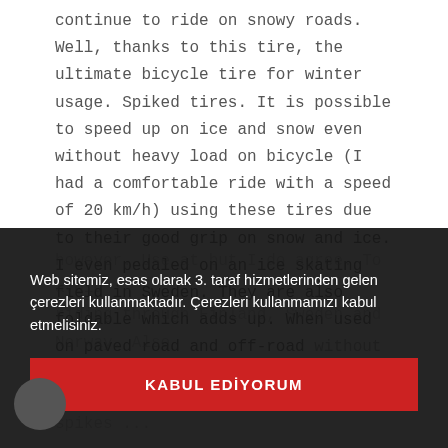continue to ride on snowy roads. Well, thanks to this tire, the ultimate bicycle tire for winter usage. Spiked tires. It is possible to speed up on ice and snow even without heavy load on bicycle (I had a comfortable ride with a speed of 20 km/h) using these tires due to their good grip on snow and ice. I even pedaled on an ice skating field in Sweden. They are also foldable which adds up. When used on paved road and off-road without snow or ice the spikes wear out however. Use at but I do agree. To avoid riding through Finland, Sweden and Norway. Also accessed the Arctic Cy... and in February 201... with these spikes ...
Web sitemiz, esas olarak 3. taraf hizmetlerinden gelen çerezleri kullanmaktadır. Çerezleri kullanmamızı kabul etmelisiniz.
KABUL EDİYORUM